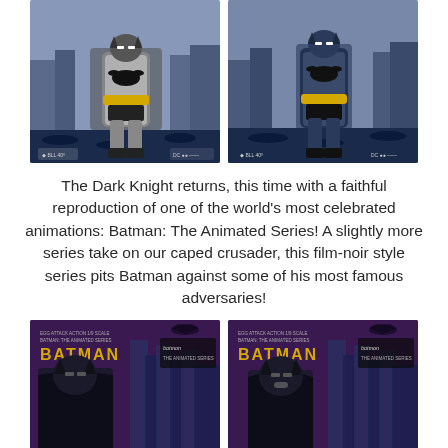[Figure (photo): Two Batman animated series collectible figure product images side by side (top row). Left image shows a chunky gray Batman figure with yellow belt and bat emblem, crouching stance, against a blue-gray Gotham cityscape background. Right image shows the same figure from a different angle or variant in blue/dark costume. Both have small logos at the bottom of the image.]
The Dark Knight returns, this time with a faithful reproduction of one of the world's most celebrated animations: Batman: The Animated Series! A slightly more series take on our caped crusader, this film-noir style series pits Batman against some of his most famous adversaries!
[Figure (photo): Two Batman: The Animated Series product packaging images side by side (bottom row). Both show a dark purple/blue background with Gotham city buildings. 'BATMAN' text in gold on left side of each, animated series logo on right side. Left image shows Batman figure from behind/side. Right image shows Batman figure from a different angle.]